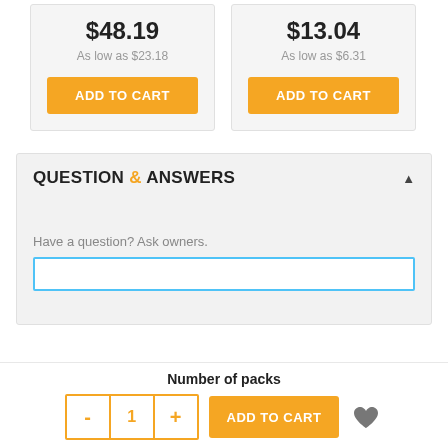$48.19
As low as $23.18
ADD TO CART
$13.04
As low as $6.31
ADD TO CART
QUESTION & ANSWERS
Have a question? Ask owners.
Number of packs
- 1 +
ADD TO CART